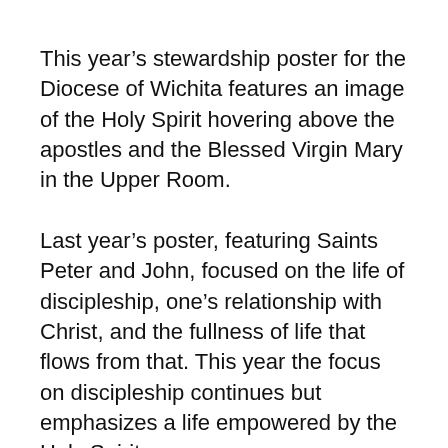This year’s stewardship poster for the Diocese of Wichita features an image of the Holy Spirit hovering above the apostles and the Blessed Virgin Mary in the Upper Room.
Last year’s poster, featuring Saints Peter and John, focused on the life of discipleship, one’s relationship with Christ, and the fullness of life that flows from that. This year the focus on discipleship continues but emphasizes a life empowered by the Holy Spirit.
The image ties well with Bishop Carl A. Kemme’s